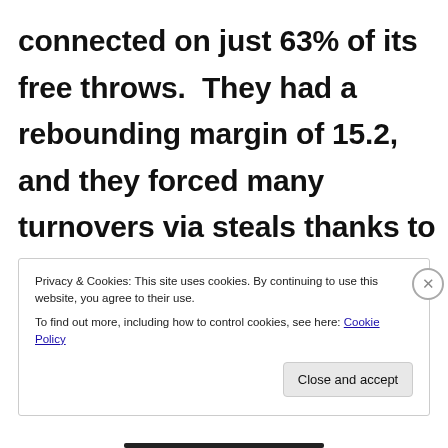connected on just 63% of its free throws.  They had a rebounding margin of 15.2, and they forced many turnovers via steals thanks to their vaunted 2-2-1 zone press.  In the great
Privacy & Cookies: This site uses cookies. By continuing to use this website, you agree to their use.
To find out more, including how to control cookies, see here: Cookie Policy
Close and accept